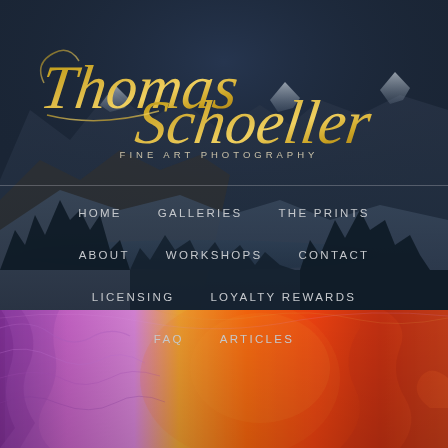[Figure (screenshot): Thomas Schoeller Fine Art Photography website screenshot showing navigation menu over a dark mountain landscape background, with a colorful canyon photo at the bottom]
Thomas Schoeller FINE ART PHOTOGRAPHY
HOME
GALLERIES
THE PRINTS
ABOUT
WORKSHOPS
CONTACT
LICENSING
LOYALTY REWARDS
FAQ
ARTICLES